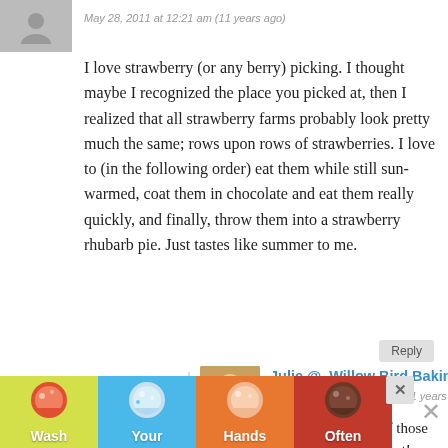[Figure (illustration): Gray placeholder avatar silhouette icon in top-left corner]
May 28, 2011 at 12:21 am (11 years ago)
I love strawberry (or any berry) picking. I thought maybe I recognized the place you picked at, then I realized that all strawberry farms probably look pretty much the same; rows upon rows of strawberries. I love to (in the following order) eat them while still sun-warmed, coat them in chocolate and eat them really quickly, and finally, throw them into a strawberry rhubarb pie. Just tastes like summer to me.
Reply
[Figure (photo): Small profile photo of a woman (Julie) for nested comment]
Julie @  Willow Bird Baking
May 28, 2011 at 12:40 am (11 years ago)
Yum, Mariah! All of those methods sound perfect!
[Figure (infographic): Wash Your Hands Often advertisement banner with four colored panels (yellow, blue, orange, red) each showing a hand washing illustration and a word]